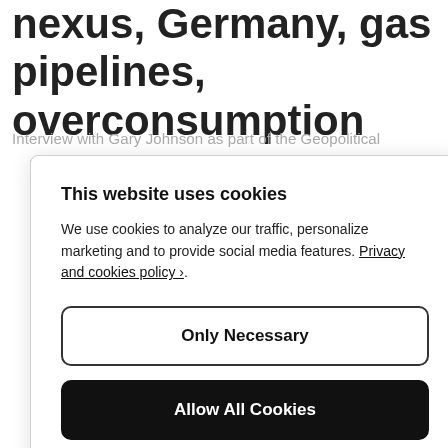nexus, Germany, gas pipelines, overconsumption
Interview with Gary Johnson as part of the Geopolitical
This website uses cookies
We use cookies to analyze our traffic, personalize marketing and to provide social media features. Privacy and cookies policy ›.
Only Necessary
Allow All Cookies
Configure Settings ›